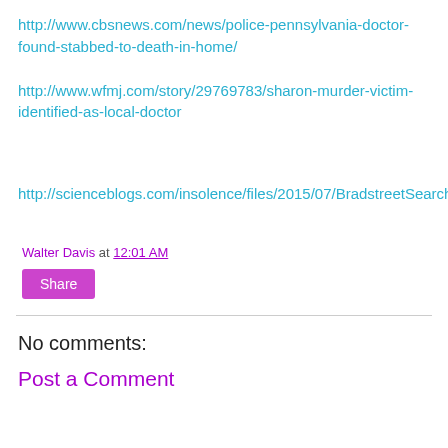http://www.cbsnews.com/news/police-pennsylvania-doctor-found-stabbed-to-death-in-home/
http://www.wfmj.com/story/29769783/sharon-murder-victim-identified-as-local-doctor
http://scienceblogs.com/insolence/files/2015/07/BradstreetSearchWarrant.pdf
Walter Davis at 12:01 AM
Share
No comments:
Post a Comment